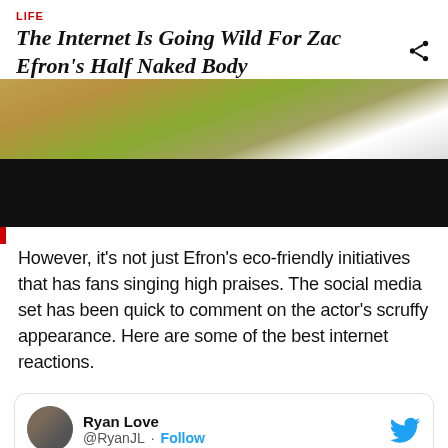LIFE
The Internet Is Going Wild For Zac Efron's Half Naked Body
[Figure (photo): Photo of Zac Efron, partially cropped, with a dark lower portion]
However, it's not just Efron's eco-friendly initiatives that has fans singing high praises. The social media set has been quick to comment on the actor's scruffy appearance. Here are some of the best internet reactions.
Ryan Love @RyanJL · Follow
This Zac Efron show on Netflix is very educational #DownToEarth